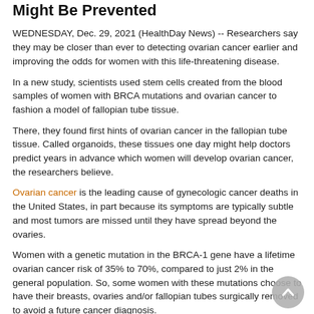Might Be Prevented
WEDNESDAY, Dec. 29, 2021 (HealthDay News) -- Researchers say they may be closer than ever to detecting ovarian cancer earlier and improving the odds for women with this life-threatening disease.
In a new study, scientists used stem cells created from the blood samples of women with BRCA mutations and ovarian cancer to fashion a model of fallopian tube tissue.
There, they found first hints of ovarian cancer in the fallopian tube tissue. Called organoids, these tissues one day might help doctors predict years in advance which women will develop ovarian cancer, the researchers believe.
Ovarian cancer is the leading cause of gynecologic cancer deaths in the United States, in part because its symptoms are typically subtle and most tumors are missed until they have spread beyond the ovaries.
Women with a genetic mutation in the BRCA-1 gene have a lifetime ovarian cancer risk of 35% to 70%, compared to just 2% in the general population. So, some women with these mutations choose to have their breasts, ovaries and/or fallopian tubes surgically removed to avoid a future cancer diagnosis.
"We created these fallopian organoids using cells from women with BRCA-1 mutations who had ovarian cancer," explained study author Clive Svendsen, executive director of Cedars-Sinai Medical Center's Board of Governors Regenerative Medicine Institute in Los Angeles.
"Our data supports recent research indicating that ovarian cancer in these